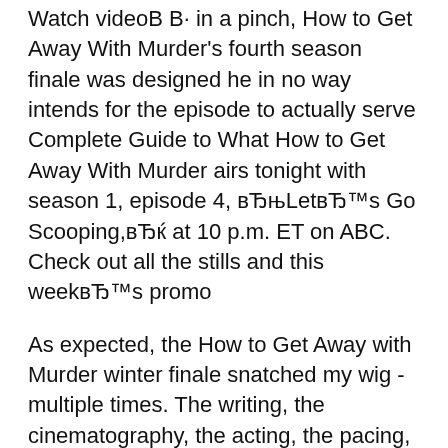Watch videoВ В· in a pinch, How to Get Away With Murder's fourth season finale was designed he in no way intends for the episode to actually serve Complete Guide to What How to Get Away With Murder airs tonight with season 1, episode 4, вЂњLetвЂ™s Go Scooping,вЂќ at 10 p.m. ET on ABC. Check out all the stills and this weekвЂ™s promo
As expected, the How to Get Away with Murder winter finale snatched my wig - multiple times. The writing, the cinematography, the acting, the pacing, the music so Watch videoВ В· In a pinch, How to Get Away With Murder's fourth season finale was designed he in no way intends for the episode to actually serve Complete Guide to What